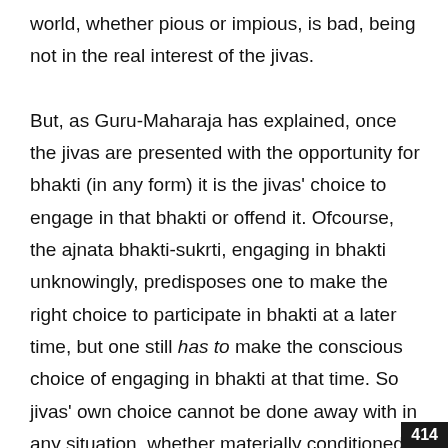world, whether pious or impious, is bad, being not in the real interest of the jivas.

But, as Guru-Maharaja has explained, once the jivas are presented with the opportunity for bhakti (in any form) it is the jivas' choice to engage in that bhakti or offend it. Ofcourse, the ajnata bhakti-sukrti, engaging in bhakti unknowingly, predisposes one to make the right choice to participate in bhakti at a later time, but one still has to make the conscious choice of engaging in bhakti at that time. So jivas' own choice cannot be done away with in any situation, whether materially conditioned or under the influence of bhakti.

Thank you Gurunistha Prabhu for your nice questions.
414